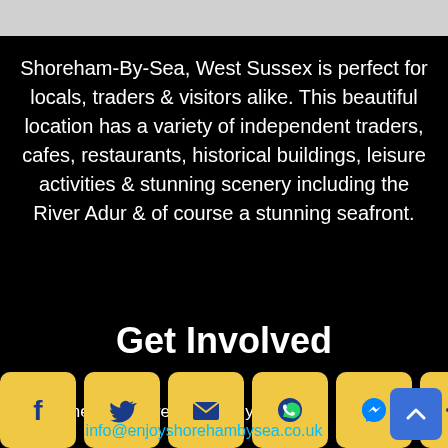Shoreham-By-Sea, West Sussex is perfect for locals, traders & visitors alike. This beautiful location has a variety of independent traders, cafes, restaurants, historical buildings, leisure activities & stunning scenery including the River Adur & of course a stunning seafront.
Get Involved
[Figure (infographic): Blue circle icon with equals sign]
General enquires / Tell us your story
[Figure (infographic): Social media icon bar: Facebook, Twitter, Email, WhatsApp, Messenger, Plus button]
info@enjoyshorehambysea.co.uk